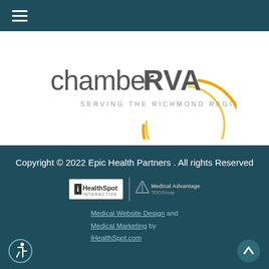Navigation menu (hamburger icon)
[Figure (logo): Chamber RVA logo with orange circular swoosh and tagline 'SERVING THE RICHMOND REGION']
Copyright © 2022 Epic Health Partners . All rights Reserved
[Figure (logo): iHealthSpot Interactive logo and Medical Advantage TDCGroup logo side by side]
Medical Website Design and Medical Marketing by iHealthSpot.com